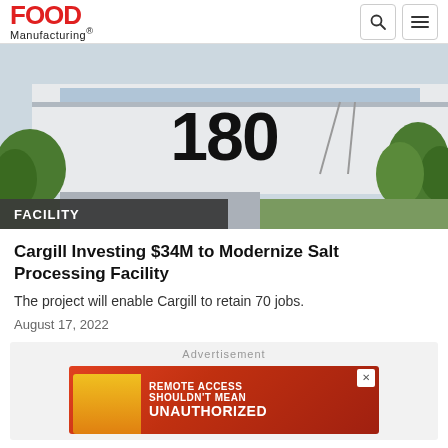Food Manufacturing
[Figure (photo): Exterior of a building with large number '180' displayed on the facade, surrounded by trees]
FACILITY
Cargill Investing $34M to Modernize Salt Processing Facility
The project will enable Cargill to retain 70 jobs.
August 17, 2022
[Figure (screenshot): Advertisement banner: REMOTE ACCESS SHOULDN'T MEAN UNAUTHORIZED (red background with person image)]